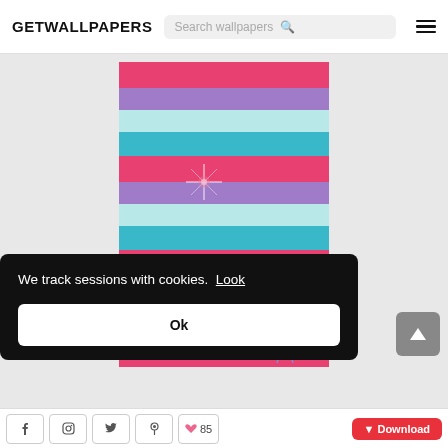GETWALLPAPERS
[Figure (screenshot): Wallpaper preview showing colorful horizontal stripes in pink/red, purple, light blue, and teal colors with a small white butterfly/fairy character at the bottom right, and a sparkle effect in the center]
We track sessions with cookies. Look
Ok
Social share icons and Download button